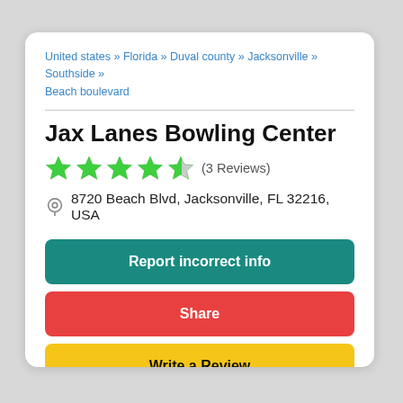United states » Florida » Duval county » Jacksonville » Southside » Beach boulevard
Jax Lanes Bowling Center
★★★★½ (3 Reviews)
8720 Beach Blvd, Jacksonville, FL 32216, USA
Report incorrect info
Share
Write a Review